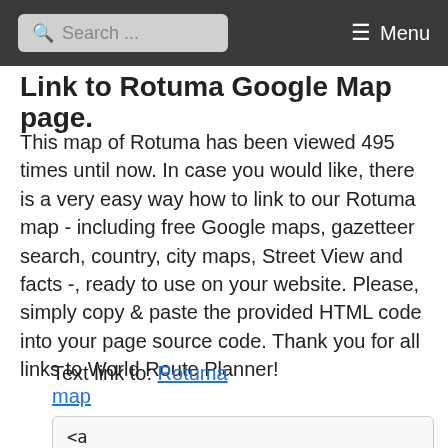Search ... ☰ Menu
Link to Rotuma Google Map page.
This map of Rotuma has been viewed 495 times until now. In case you would like, there is a very easy way how to link to our Rotuma map - including free Google maps, gazetteer search, country, city maps, Street View and facts -, ready to use on your website. Please, simply copy & paste the provided HTML code into your page source code. Thank you for all links to World Route Planner!
Text link to: Rotuma map
<a